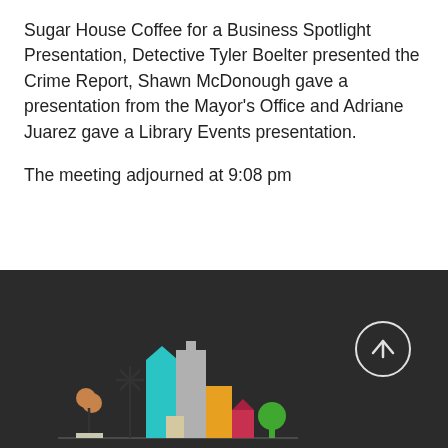Sugar House Coffee for a Business Spotlight Presentation, Detective Tyler Boelter presented the Crime Report, Shawn McDonough gave a presentation from the Mayor's Office and Adriane Juarez gave a Library Events presentation.
The meeting adjourned at 9:08 pm
[Figure (illustration): Dark background footer section with a colorful city skyline icon illustration (buildings, a tree, a hot air balloon-like figure) on the left and a circular upward arrow scroll-to-top button on the right.]